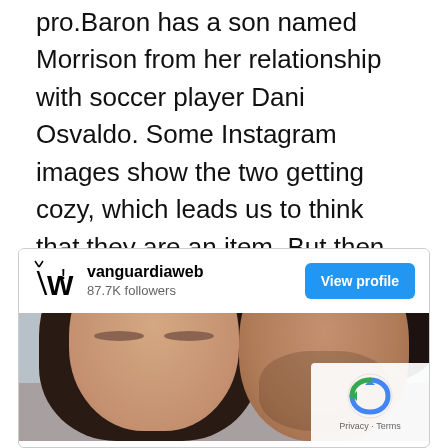pro.Baron has a son named Morrison from her relationship with soccer player Dani Osvaldo. Some Instagram images show the two getting cozy, which leads us to think that they are an item. But then again, since neither have confirmed their relationship, we can only speculate that they are in love!
[Figure (screenshot): Embedded social media card from vanguardiaweb (87.7K followers) with a View profile button, showing a selfie photo of a woman and a man]